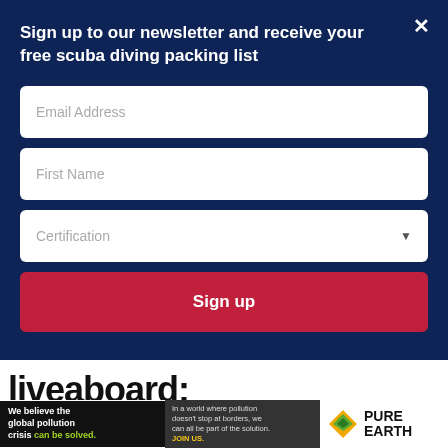Sign up to our newsletter and receive your free scuba diving packing list
Email Address
First Name
Certification
Sign up
liveaboard:
[Figure (infographic): Pure Earth advertisement banner: 'We believe the global pollution crisis can be solved. In a world where pollution doesn't stop at borders, we can all be part of the solution. JOIN US.' with Pure Earth logo.]